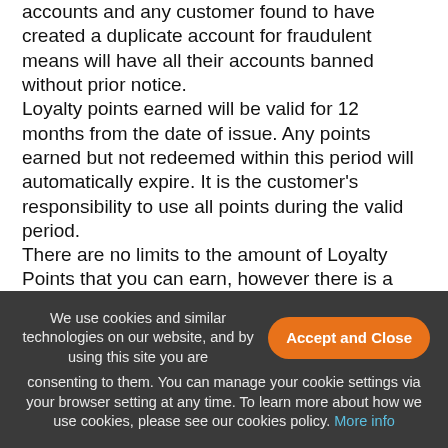accounts and any customer found to have created a duplicate account for fraudulent means will have all their accounts banned without prior notice. Loyalty points earned will be valid for 12 months from the date of issue. Any points earned but not redeemed within this period will automatically expire. It is the customer's responsibility to use all points during the valid period. There are no limits to the amount of Loyalty Points that you can earn, however there is a redemption limit of £100 of points per order and £200 in total per month The number of Loyalty Points you have available to redeem will be displayed in your shopping basket. Just enter the amount of points that you want to use and
We use cookies and similar technologies on our website, and by using this site you are consenting to them. You can manage your cookie settings via your browser setting at any time. To learn more about how we use cookies, please see our cookies policy. More info